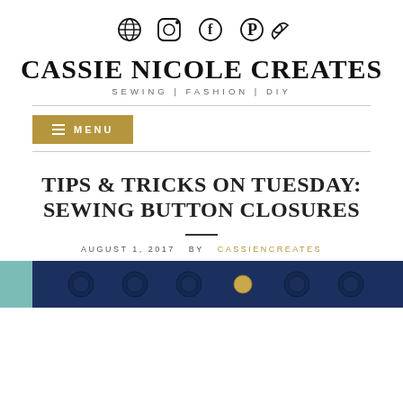[Figure (logo): Social media icons: WordPress, Instagram, Facebook, Pinterest, and a chain/link icon]
CASSIE NICOLE CREATES
SEWING | FASHION | DIY
MENU
TIPS & TRICKS ON TUESDAY: SEWING BUTTON CLOSURES
AUGUST 1, 2017  BY  CASSIENCREATES
[Figure (photo): Photo of sewing buttons — teal/turquoise background on left and dark navy blue fabric with large decorative buttons on right]